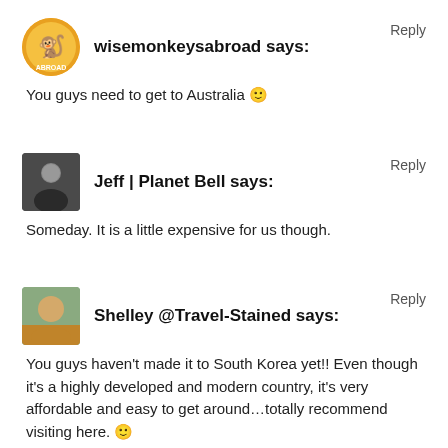wisemonkeysabroad says:
Reply
You guys need to get to Australia 🙂
Jeff | Planet Bell says:
Reply
Someday. It is a little expensive for us though.
Shelley @Travel-Stained says:
Reply
You guys haven't made it to South Korea yet!! Even though it's a highly developed and modern country, it's very affordable and easy to get around…totally recommend visiting here. 🙂